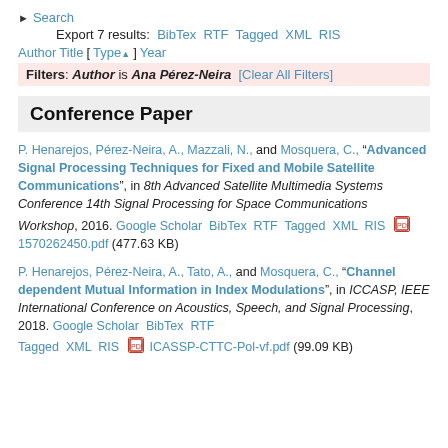▶ Search
Export 7 results: BibTex RTF Tagged XML RIS
Author Title [ Type▲ ] Year
Filters: Author is Ana Pérez-Neira [Clear All Filters]
Conference Paper
P. Henarejos, Pérez-Neira, A., Mazzali, N., and Mosquera, C., "Advanced Signal Processing Techniques for Fixed and Mobile Satellite Communications", in 8th Advanced Satellite Multimedia Systems Conference 14th Signal Processing for Space Communications Workshop, 2016. Google Scholar BibTex RTF Tagged XML RIS 1570262450.pdf (477.63 KB)
P. Henarejos, Pérez-Neira, A., Tato, A., and Mosquera, C., "Channel dependent Mutual Information in Index Modulations", in ICCASP, IEEE International Conference on Acoustics, Speech, and Signal Processing, 2018. Google Scholar BibTex RTF Tagged XML RIS ICASSP-CTTC-Pol-vf.pdf (99.09 KB)